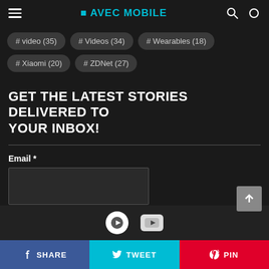☰ AVEC MOBILE 🔍 ☀
# video (35)
# Videos (34)
# Wearables (18)
# Xiaomi (20)
# ZDNet (27)
GET THE LATEST STORIES DELIVERED TO YOUR INBOX!
Email *
SUBSCRIBE!
SHARE  TWEET  PIN